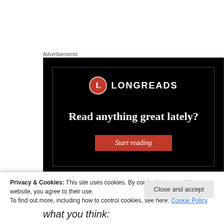Advertisements
[Figure (illustration): Longreads advertisement banner on black background with logo, tagline 'Read anything great lately?' and a red 'Start reading' button]
Privacy & Cookies: This site uses cookies. By continuing to use this website, you agree to their use.
To find out more, including how to control cookies, see here: Cookie Policy
Close and accept
what you think: